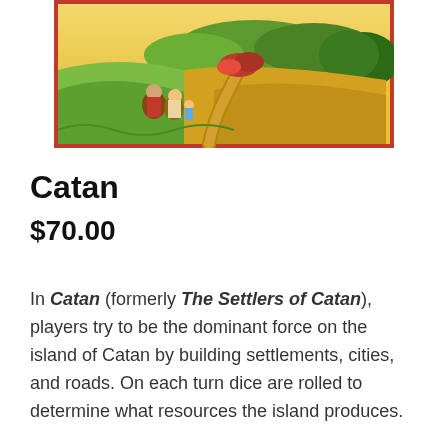[Figure (illustration): Painting of settlers walking on a path through green and golden fields, with trees and hills in the background. The image has a red border.]
Catan
$70.00
In Catan (formerly The Settlers of Catan), players try to be the dominant force on the island of Catan by building settlements, cities, and roads. On each turn dice are rolled to determine what resources the island produces. The...